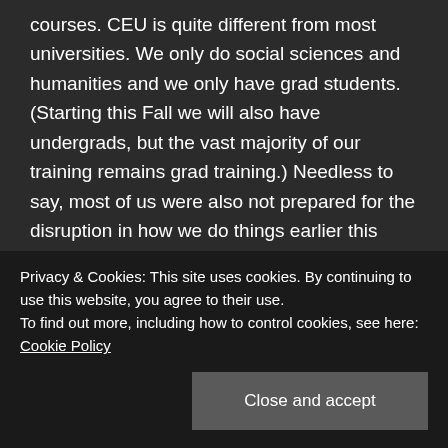courses. CEU is quite different from most universities. We only do social sciences and humanities and we only have grad students. (Starting this Fall we will also have undergrads, but the vast majority of our training remains grad training.) Needless to say, most of us were also not prepared for the disruption in how we do things earlier this year. I personally would not have known anything about this either but while many of my colleagues were reverting their courses to emergency measures, worrying about what they need to do tomorrow so that their classes do not fall apart, I was not teaching. Still, my circumstances required me to figure out the online
Privacy & Cookies: This site uses cookies. By continuing to use this website, you agree to their use.
To find out more, including how to control cookies, see here: Cookie Policy
Close and accept
Hope it will be helpful.